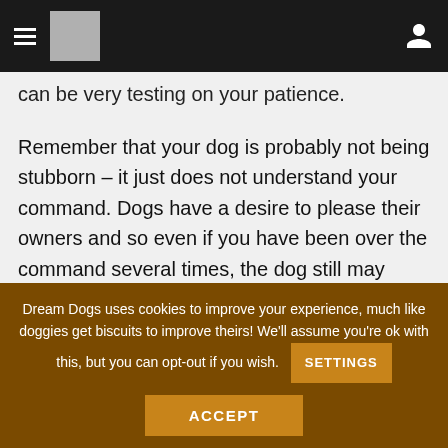[Navigation bar with hamburger menu, logo placeholder, and user icon]
can be very testing on your patience.
Remember that your dog is probably not being stubborn – it just does not understand your command. Dogs have a desire to please their owners and so even if you have been over the command several times, the dog still may misunderstand what you want them to do.
The...
Dream Dogs uses cookies to improve your experience, much like doggies get biscuits to improve theirs! We'll assume you're ok with this, but you can opt-out if you wish.
SETTINGS
ACCEPT